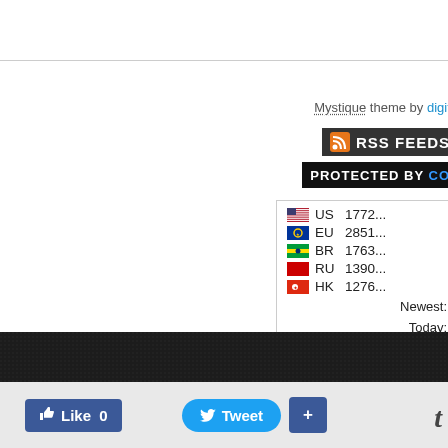Mystique theme by digita...
[Figure (infographic): RSS FEEDS orange banner with RSS icon]
[Figure (infographic): PROTECTED BY CO... black banner]
| Flag | Country | Value |
| --- | --- | --- |
| US flag | US | 1772... |
| EU flag | EU | 2851... |
| BR flag | BR | 1763... |
| RU flag | RU | 1390... |
| HK flag | HK | 1276... |
Newest:
Today:
Month:
Total:
Super...
Pri...
Find m...
[Figure (infographic): Dark footer bar]
[Figure (infographic): Social bar with Like 0, Tweet, + buttons and tumblr t]